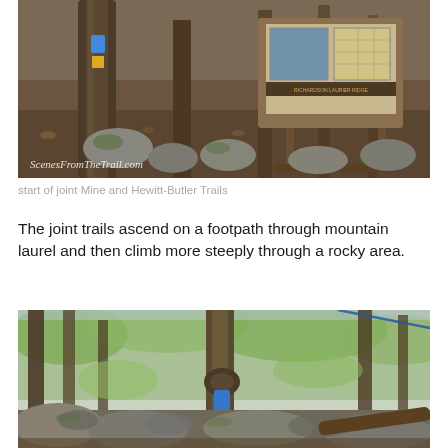[Figure (photo): Trail signboard in a forest with large trees, rocks on ground, and an information kiosk/board visible in the background. Watermark reads 'ScenesFromTheTrail.com'.]
start of joint Mine and Hewitt-Butler Trails
The joint trails ascend on a footpath through mountain laurel and then climb more steeply through a rocky area.
[Figure (photo): Rocky forest trail with large rocks and boulders, tall trees with spring green foliage. A trail blaze (blue circle and yellow circle) is visible on a tree trunk.]